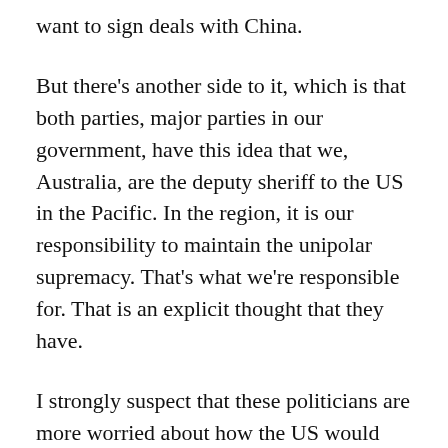want to sign deals with China.
But there's another side to it, which is that both parties, major parties in our government, have this idea that we, Australia, are the deputy sheriff to the US in the Pacific. In the region, it is our responsibility to maintain the unipolar supremacy. That's what we're responsible for. That is an explicit thought that they have.
I strongly suspect that these politicians are more worried about how the US would see Australia's negligence in letting China into the South Pacific. They are more worried about that than about how the Australian people would see it, such as the subservience we have to the US. Penny Wong is over